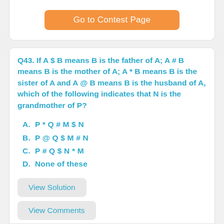[Figure (other): Orange button labeled 'Go to Contest Page' inside a white card at the top]
Q43. If A $ B means B is the father of A; A # B means B is the mother of A; A * B means B is the sister of A and A @ B means B is the husband of A, which of the following indicates that N is the grandmother of P?
A.  P * Q # M $ N
B.  P @ Q $ M # N
C.  P # Q $ N * M
D.  None of these
View Solution
View Comments